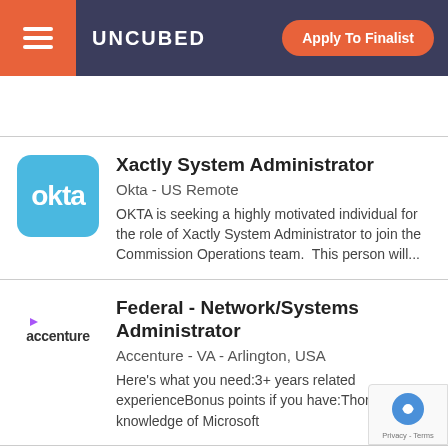UNCUBED | Apply To Finalist
[Figure (logo): Okta company logo - blue rounded square with white 'okta' text]
Xactly System Administrator
Okta - US Remote
OKTA is seeking a highly motivated individual for the role of Xactly System Administrator to join the Commission Operations team.  This person will...
[Figure (logo): Accenture company logo with purple arrow and 'accenture' text]
Federal - Network/Systems Administrator
Accenture - VA - Arlington, USA
Here's what you need:3+ years related experienceBonus points if you have:Thorough knowledge of Microsoft